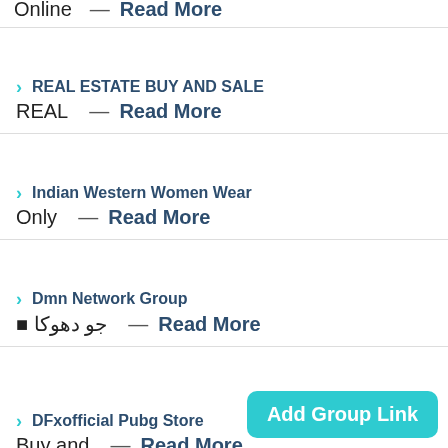Online — Read More
REAL ESTATE BUY AND SALE
REAL — Read More
Indian Western Women Wear
Only — Read More
Dmn Network Group
جو دھوکا — Read More
DFxofficial Pubg Store
Buy and — Read More
Add Group Link